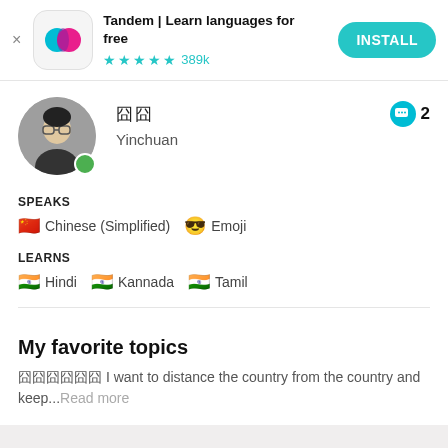[Figure (screenshot): Tandem app install banner with logo, star rating 4.5 stars 389k reviews, and INSTALL button]
[Figure (photo): Young man with glasses profile photo, circular avatar with green online indicator]
囧囧
Yinchuan
💬 2
SPEAKS
🇨🇳 Chinese (Simplified)   😎 Emoji
LEARNS
🇮🇳 Hindi   🇮🇳 Kannada   🇮🇳 Tamil
My favorite topics
囧囧囧囧囧囧 I want to distance the country from the country and keep...Read more